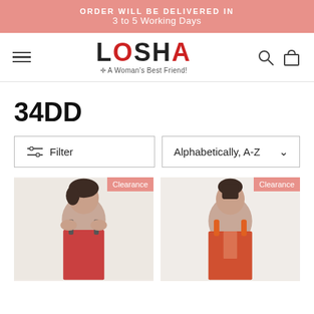ORDER WILL BE DELIVERED IN
3 to 5 Working Days
[Figure (logo): LOSHA logo with tagline 'A Woman's Best Friend!']
34DD
Filter | Alphabetically, A-Z
[Figure (photo): Woman wearing pink/red sports bra tank top, short dark hair, side profile. Clearance badge.]
[Figure (photo): Woman wearing orange/red sports tank top, hair up, front-facing. Clearance badge.]